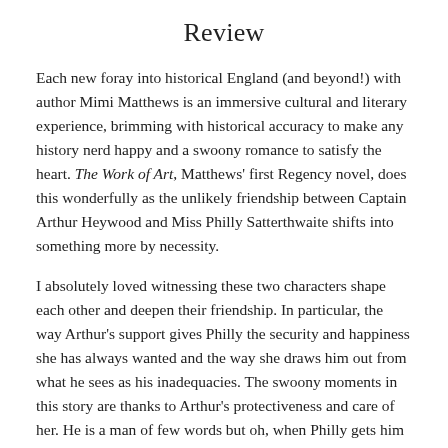Review
Each new foray into historical England (and beyond!) with author Mimi Matthews is an immersive cultural and literary experience, brimming with historical accuracy to make any history nerd happy and a swoony romance to satisfy the heart. The Work of Art, Matthews’ first Regency novel, does this wonderfully as the unlikely friendship between Captain Arthur Heywood and Miss Philly Satterthwaite shifts into something more by necessity.
I absolutely loved witnessing these two characters shape each other and deepen their friendship. In particular, the way Arthur’s support gives Philly the security and happiness she has always wanted and the way she draws him out from what he sees as his inadequacies. The swoony moments in this story are thanks to Arthur’s protectiveness and care of her. He is a man of few words but oh, when Philly gets him